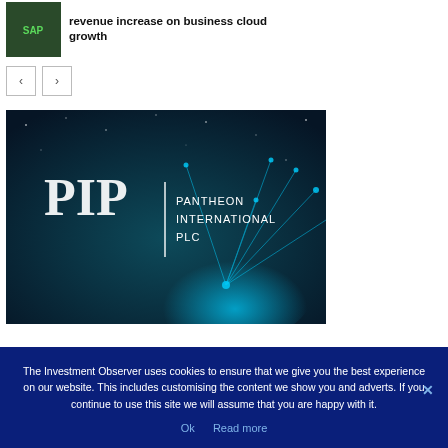revenue increase on business cloud growth
[Figure (other): Small thumbnail image, dark green background with SAP logo]
< navigation arrow button
> navigation arrow button
[Figure (logo): Pantheon International PLC (PIP) logo on dark teal background with glowing blue network/fiber optic visual]
The Investment Observer uses cookies to ensure that we give you the best experience on our website. This includes customising the content we show you and adverts. If you continue to use this site we will assume that you are happy with it.
Ok   Read more